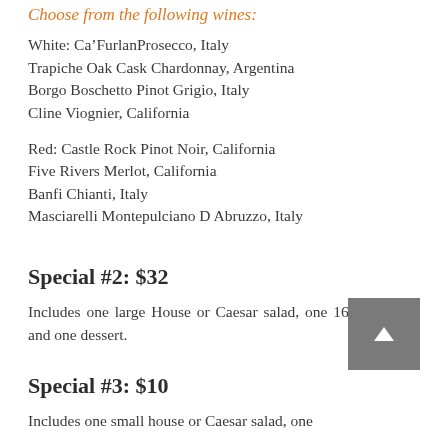Choose from the following wines:
White: Ca'FurlanProsecco, Italy
Trapiche Oak Cask Chardonnay, Argentina
Borgo Boschetto Pinot Grigio, Italy
Cline Viognier, California
Red: Castle Rock Pinot Noir, California
Five Rivers Merlot, California
Banfi Chianti, Italy
Masciarelli Montepulciano D Abruzzo, Italy
Special #2: $32
Includes one large House or Caesar salad, one 16 inch pizza and one dessert.
Special #3: $10
Includes one small house or Caesar salad, one